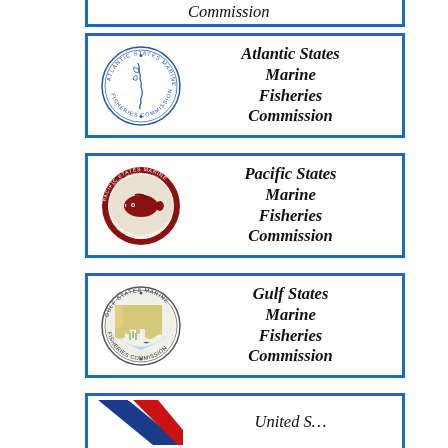[Figure (logo): Partial top box with truncated text - top of page]
[Figure (logo): Atlantic States Marine Fisheries Commission logo with circular seal showing Atlantic coast map]
[Figure (logo): Pacific States Marine Fisheries Commission logo with red fish circular seal]
[Figure (logo): Gulf States Marine Fisheries Commission logo with circular seal]
[Figure (logo): Partial bottom box - United States (truncated) with red/blue diagonal stripes logo]